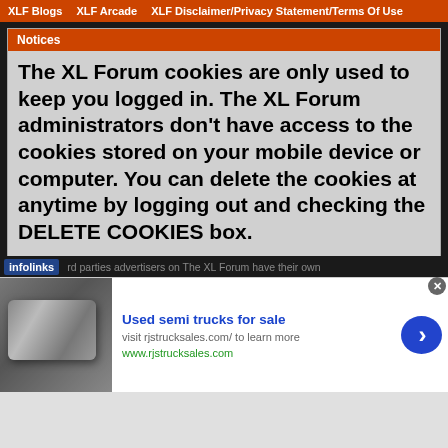XLF Blogs   XLF Arcade   XLF Disclaimer/Privacy Statement/Terms Of Use
Notices
The XL Forum cookies are only used to keep you logged in. The XL Forum administrators don't have access to the cookies stored on your mobile device or computer. You can delete the cookies at anytime by logging out and checking the DELETE COOKIES box.
The XL Forum doesn't share, or sell, your information with any person or company.
[Figure (screenshot): Infolinks advertisement overlay with partial text visible: 'rd parties advertisers on The XL Forum have their own']
[Figure (screenshot): Ad overlay: 'Used semi trucks for sale - visit rjstrucksales.com/ to learn more - www.rjstrucksales.com' with truck photo and blue arrow button]